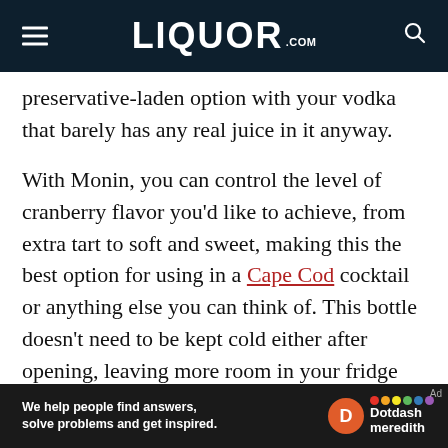LIQUOR.COM
preservative-laden option with your vodka that barely has any real juice in it anyway.
With Monin, you can control the level of cranberry flavor you'd like to achieve, from extra tart to soft and sweet, making this the best option for using in a Cape Cod cocktail or anything else you can think of. This bottle doesn't need to be kept cold either after opening, leaving more room in your fridge for kitchen essentials.
Fi...l Verdi...
[Figure (other): Dotdash Meredith advertisement banner: 'We help people find answers, solve problems and get inspired.' with Dotdash Meredith logo]